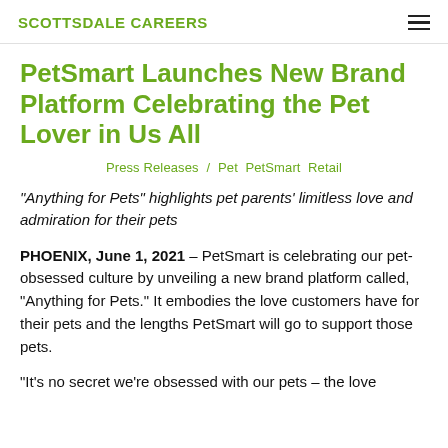SCOTTSDALE CAREERS
PetSmart Launches New Brand Platform Celebrating the Pet Lover in Us All
Press Releases / Pet PetSmart Retail
“Anything for Pets” highlights pet parents’ limitless love and admiration for their pets
PHOENIX, June 1, 2021 – PetSmart is celebrating our pet-obsessed culture by unveiling a new brand platform called, “Anything for Pets.” It embodies the love customers have for their pets and the lengths PetSmart will go to support those pets.
“It’s no secret we’re obsessed with our pets – the love